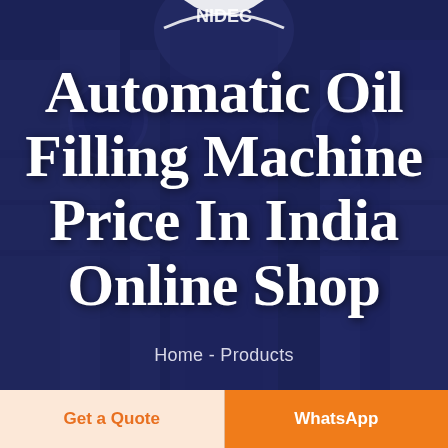[Figure (photo): Dark blue/navy toned industrial machinery background with manufacturing equipment, overlaid with semi-transparent dark blue layer]
Automatic Oil Filling Machine Price In India Online Shop
Home - Products
Get a Quote
WhatsApp